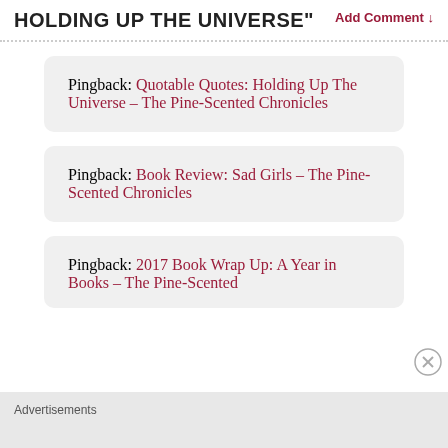HOLDING UP THE UNIVERSE"
Add Comment ↓
Pingback: Quotable Quotes: Holding Up The Universe – The Pine-Scented Chronicles
Pingback: Book Review: Sad Girls – The Pine-Scented Chronicles
Pingback: 2017 Book Wrap Up: A Year in Books – The Pine-Scented
Advertisements